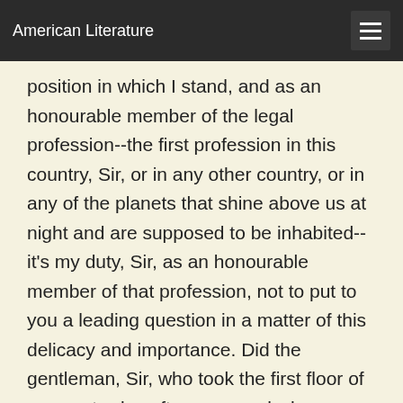American Literature
position in which I stand, and as an honourable member of the legal profession--the first profession in this country, Sir, or in any other country, or in any of the planets that shine above us at night and are supposed to be inhabited--it's my duty, Sir, as an honourable member of that profession, not to put to you a leading question in a matter of this delicacy and importance. Did the gentleman, Sir, who took the first floor of you yesterday afternoon, and who brought with him a box of property--a box of property--say anything more than is set down in this memorandum?'
'Come, don't be a fool,' said Miss Sally.